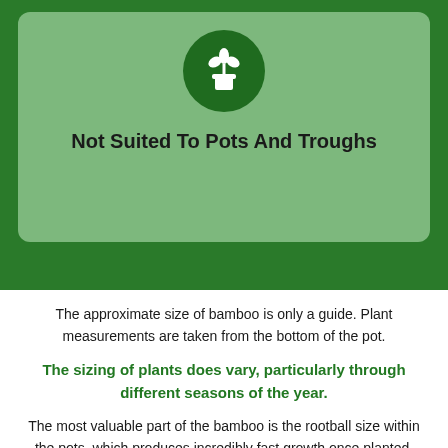[Figure (illustration): Dark green circle icon containing a white potted plant with leaves, set on a light green rounded card background]
Not Suited To Pots And Troughs
The approximate size of bamboo is only a guide. Plant measurements are taken from the bottom of the pot.
The sizing of plants does vary, particularly through different seasons of the year.
The most valuable part of the bamboo is the rootball size within the pots, which produces incredibly fast growth once planted.